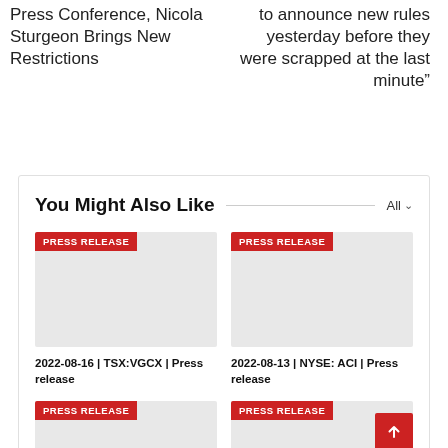Press Conference, Nicola Sturgeon Brings New Restrictions
to announce new rules yesterday before they were scrapped at the last minute”
You Might Also Like
[Figure (screenshot): Press release card image placeholder (grey), labelled PRESS RELEASE]
2022-08-16 | TSX:VGCX | Press release
[Figure (screenshot): Press release card image placeholder (grey), labelled PRESS RELEASE]
2022-08-13 | NYSE: ACI | Press release
[Figure (screenshot): Press release card image placeholder (grey), labelled PRESS RELEASE]
[Figure (screenshot): Press release card image placeholder (grey), labelled PRESS RELEASE]